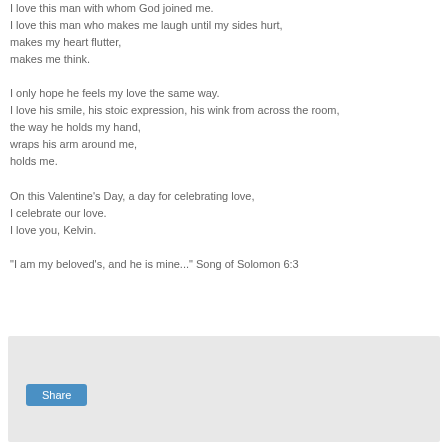I love this man with whom God joined me. I love this man who makes me laugh until my sides hurt, makes my heart flutter, makes me think.

I only hope he feels my love the same way. I love his smile, his stoic expression, his wink from across the room, the way he holds my hand, wraps his arm around me, holds me.

On this Valentine's Day, a day for celebrating love, I celebrate our love. I love you, Kelvin.

"I am my beloved's, and he is mine..." Song of Solomon 6:3
[Figure (other): Gray box footer area with a blue Share button]